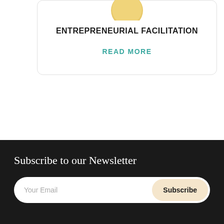[Figure (illustration): Partial gold/yellow coin or circular icon at the top of a card]
ENTREPRENEURIAL FACILITATION
READ MORE
Subscribe to our Newsletter
Your Email
Subscribe